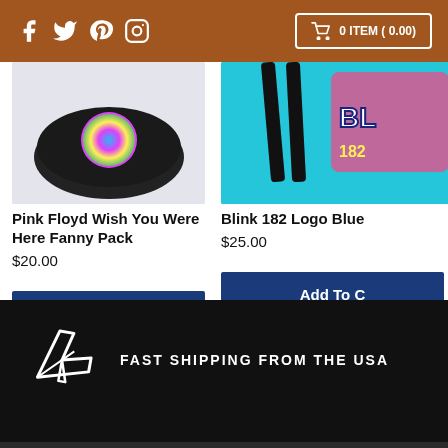Social media icons: Facebook, Twitter, Pinterest, Instagram | 0 ITEM ( 0.00)
[Figure (photo): Black fanny pack with colorful Pink Floyd circular graphic on front, displayed on light gray background]
Pink Floyd Wish You Were Here Fanny Pack
$20.00
[Figure (photo): Teal/blue drawstring bag with Blink 182 Logo Blue graphic, shown with black straps, partially cropped on right side]
Blink 182 Logo Blue
$25.00
Add To Cart
Add To C
FAST SHIPPING FROM THE USA